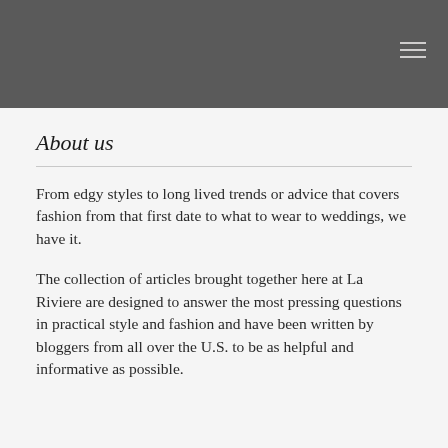About us
From edgy styles to long lived trends or advice that covers fashion from that first date to what to wear to weddings, we have it.
The collection of articles brought together here at La Riviere are designed to answer the most pressing questions in practical style and fashion and have been written by bloggers from all over the U.S. to be as helpful and informative as possible.